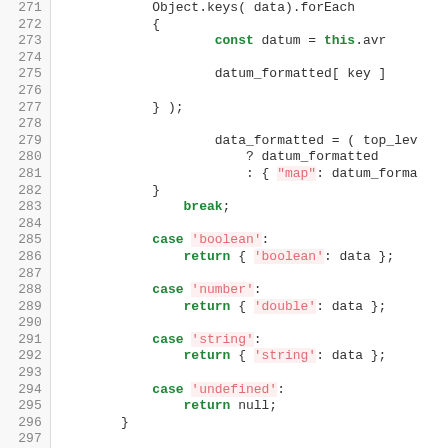[Figure (screenshot): Source code listing showing JavaScript code with syntax highlighting, line numbers 271-300. Code includes forEach loop, datum_formatted assignments, switch-case statements for boolean/number/string/undefined types, and return statements.]